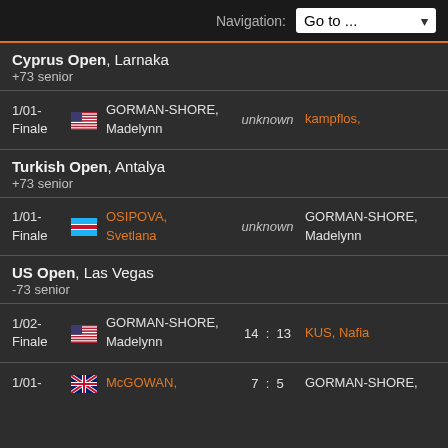Navigation: Go to ...
Cyprus Open, Larnaka
+73 senior
| Round | Flag | Player 1 | Score | Player 2 |
| --- | --- | --- | --- | --- |
| 1/01-Finale | US | GORMAN-SHORE, Madelynn | unknown | kampflos, |
Turkish Open, Antalya
+73 senior
| Round | Flag | Player 1 | Score | Player 2 |
| --- | --- | --- | --- | --- |
| 1/01-Finale | UZ | OSIPOVA, Svetlana | unknown | GORMAN-SHORE, Madelynn |
US Open, Las Vegas
-73 senior
| Round | Flag | Player 1 | Score | Player 2 |
| --- | --- | --- | --- | --- |
| 1/02-Finale | US | GORMAN-SHORE, Madelynn | 14 : 13 | KUS, Nafia |
| 1/01- | GB | McGOWAN, | 7 : 5 | GORMAN-SHORE, |